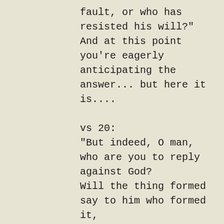fault, or who has resisted his will?" And at this point you're eagerly anticipating the answer... but here it is....
vs 20:
"But indeed, O man, who are you to reply against God?
Will the thing formed say to him who formed it,
'Why have you made me like this?"
And that leaves you wondering, because it seems totally unjust. In fact, I was reluctant to even address this subject because I doubted that I could persuade anyone otherwise, and I told the Lord that I need to write on something else. But the Lord prodded me that no, I am to address this.